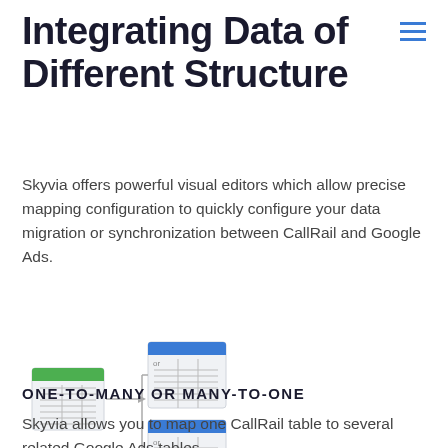Integrating Data of Different Structure
Skyvia offers powerful visual editors which allow precise mapping configuration to quickly configure your data migration or synchronization between CallRail and Google Ads.
[Figure (illustration): Diagram showing one table (with green header) connected via an arrow to two tables (with blue headers), illustrating one-to-many data structure mapping.]
ONE-TO-MANY OR MANY-TO-ONE
Skyvia allows you to map one CallRail table to several related Google Ads tables.